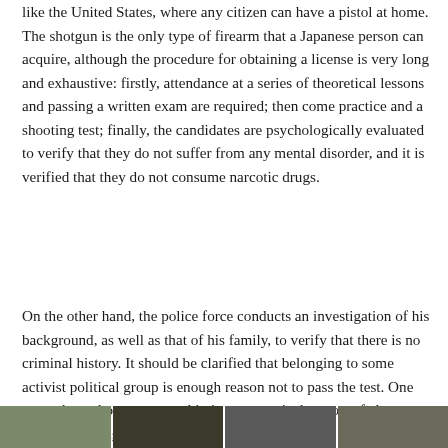like the United States, where any citizen can have a pistol at home. The shotgun is the only type of firearm that a Japanese person can acquire, although the procedure for obtaining a license is very long and exhaustive: firstly, attendance at a series of theoretical lessons and passing a written exam are required; then come practice and a shooting test; finally, the candidates are psychologically evaluated to verify that they do not suffer from any mental disorder, and it is verified that they do not consume narcotic drugs.
On the other hand, the police force conducts an investigation of his background, as well as that of his family, to verify that there is no criminal history. It should be clarified that belonging to some activist political group is enough reason not to pass the test. One area where shotgun ownership is common is the sport of clay pigeon shooting and hunting.
[Figure (photo): A strip of four photographs at the bottom of the page, partially visible, appearing to show outdoor or nature/hunting related scenes.]